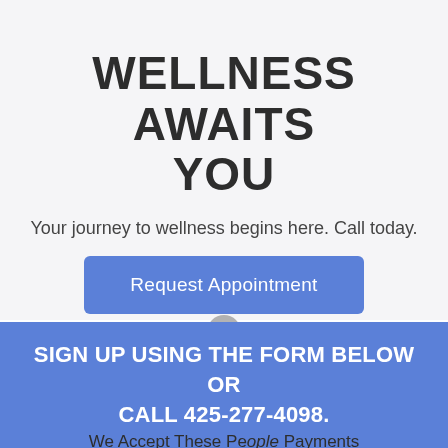[Figure (photo): Top strip showing partial photo of people, cropped at top of page]
WELLNESS AWAITS YOU
Your journey to wellness begins here. Call today.
[Figure (other): Blue rounded button labeled 'Request Appointment']
[Figure (other): Grey circular pause button icon]
SIGN UP USING THE FORM BELOW OR CALL 425-277-4098.
We Accept These People Payments